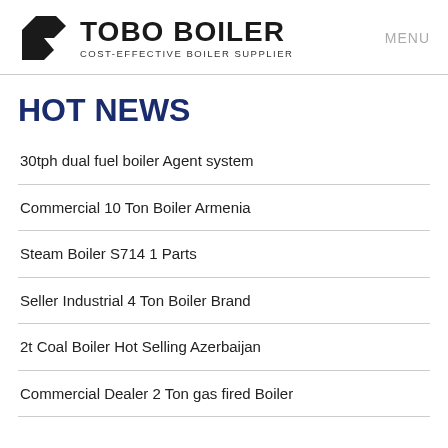TOBO BOILER COST-EFFECTIVE BOILER SUPPLIER | MENU
HOT NEWS
30tph dual fuel boiler Agent system
Commercial 10 Ton Boiler Armenia
Steam Boiler S714 1 Parts
Seller Industrial 4 Ton Boiler Brand
2t Coal Boiler Hot Selling Azerbaijan
Commercial Dealer 2 Ton gas fired Boiler